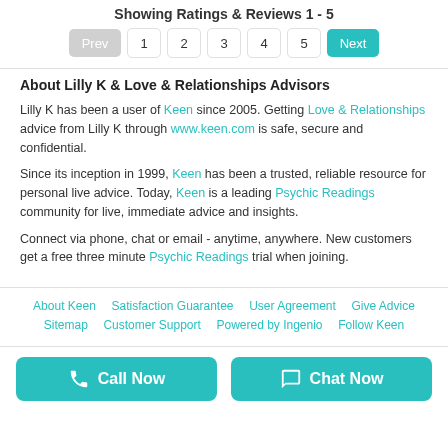Showing Ratings & Reviews 1 - 5
Prev 1 2 3 4 5 Next
About Lilly K & Love & Relationships Advisors
Lilly K has been a user of Keen since 2005. Getting Love & Relationships advice from Lilly K through www.keen.com is safe, secure and confidential.
Since its inception in 1999, Keen has been a trusted, reliable resource for personal live advice. Today, Keen is a leading Psychic Readings community for live, immediate advice and insights.
Connect via phone, chat or email - anytime, anywhere. New customers get a free three minute Psychic Readings trial when joining.
About Keen | Satisfaction Guarantee | User Agreement | Give Advice | Sitemap | Customer Support | Powered by Ingenio | Follow Keen
Call Now | Chat Now